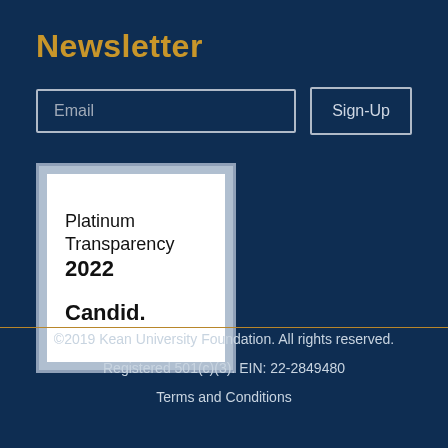Newsletter
Email
Sign-Up
[Figure (logo): Candid Platinum Transparency 2022 badge — outer gray border, white inner box with text: Platinum Transparency 2022, Candid.]
©2019 Kean University Foundation. All rights reserved.
Registered 501(c)(3). EIN: 22-2849480
Terms and Conditions